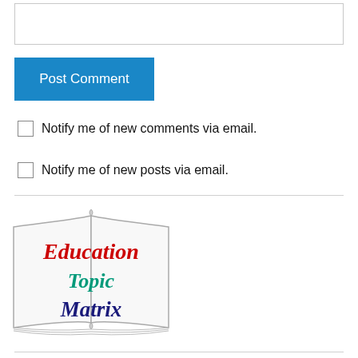(textarea input box)
Post Comment
Notify me of new comments via email.
Notify me of new posts via email.
[Figure (logo): Education Topic Matrix logo — open book illustration with text 'Education' in red italic, 'Topic' in teal italic, 'Matrix' in dark blue italic]